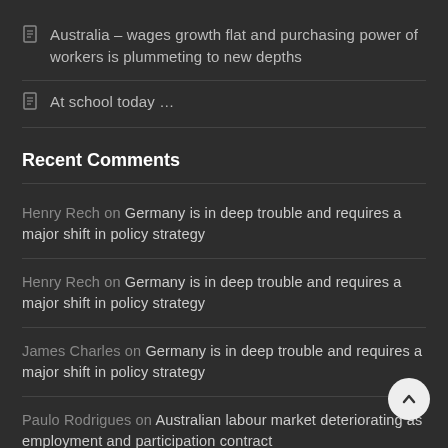Australia – wages growth flat and purchasing power of workers is plummeting to new depths
At school today …
Recent Comments
Henry Rech on Germany is in deep trouble and requires a major shift in policy strategy
Henry Rech on Germany is in deep trouble and requires a major shift in policy strategy
James Charles on Germany is in deep trouble and requires a major shift in policy strategy
Paulo Rodrigues on Australian labour market deteriorating as employment and participation contract
Steve Brodrick on Australian labour market deteriorating as …